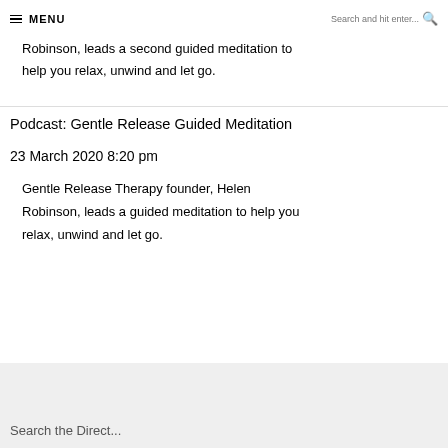≡ MENU   Search and hit enter...
Robinson, leads a second guided meditation to help you relax, unwind and let go.
Podcast: Gentle Release Guided Meditation
23 March 2020 8:20 pm
Gentle Release Therapy founder, Helen Robinson, leads a guided meditation to help you relax, unwind and let go.
Search the Direct...